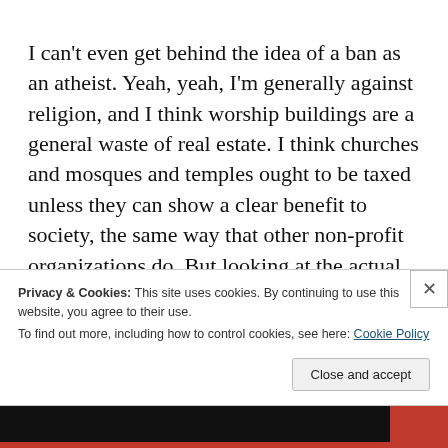I can't even get behind the idea of a ban as an atheist. Yeah, yeah, I'm generally against religion, and I think worship buildings are a general waste of real estate. I think churches and mosques and temples ought to be taxed unless they can show a clear benefit to society, the same way that other non-profit organizations do. But looking at the actual plans for this building, I think it would
Privacy & Cookies: This site uses cookies. By continuing to use this website, you agree to their use.
To find out more, including how to control cookies, see here: Cookie Policy